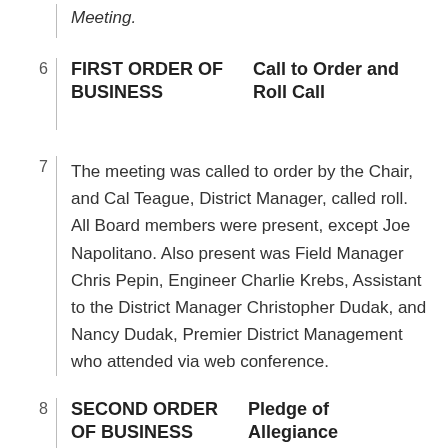Meeting.
FIRST ORDER OF BUSINESS	Call to Order and Roll Call
The meeting was called to order by the Chair, and Cal Teague, District Manager, called roll. All Board members were present, except Joe Napolitano. Also present was Field Manager Chris Pepin, Engineer Charlie Krebs, Assistant to the District Manager Christopher Dudak, and Nancy Dudak, Premier District Management who attended via web conference.
SECOND ORDER OF BUSINESS	Pledge of Allegiance